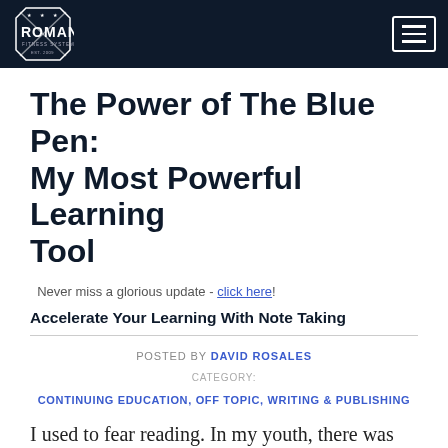Roman Fitness Systems — navigation header
The Power of The Blue Pen: My Most Powerful Learning Tool
Never miss a glorious update - click here!
Accelerate Your Learning With Note Taking
POSTED BY DAVID ROSALES
CATEGORY: CONTINUING EDUCATION, OFF TOPIC, WRITING & PUBLISHING
I used to fear reading. In my youth, there was